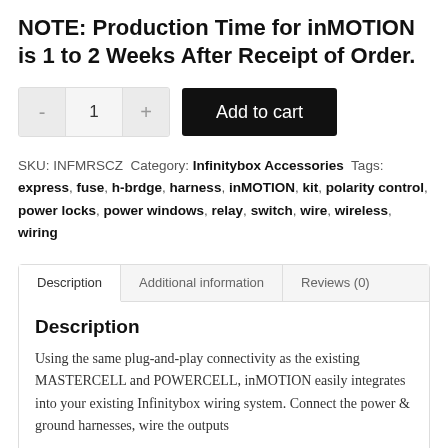NOTE: Production Time for inMOTION is 1 to 2 Weeks After Receipt of Order.
SKU: INFMRSCZ  Category: Infinitybox Accessories  Tags: express, fuse, h-brdge, harness, inMOTION, kit, polarity control, power locks, power windows, relay, switch, wire, wireless, wiring
Description
Using the same plug-and-play connectivity as the existing MASTERCELL and POWERCELL, inMOTION easily integrates into your existing Infinitybox wiring system. Connect the power & ground harnesses, wire the outputs